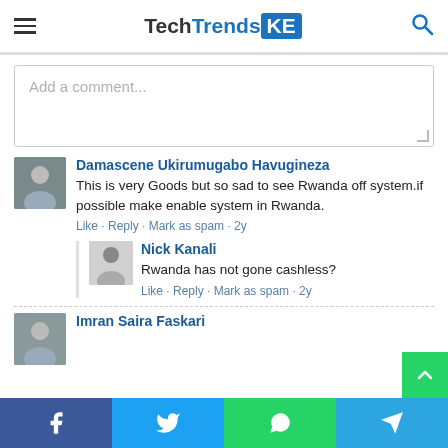TechTrendsKE
Add a comment...
Damascene Ukirumugabo Havugineza
This is very Goods but so sad to see Rwanda off system.if possible make enable system in Rwanda.
Like · Reply · Mark as spam · 2y
Nick Kanali
Rwanda has not gone cashless?
Like · Reply · Mark as spam · 2y
Imran Saira Faskari
Facebook · Twitter · WhatsApp · Telegram